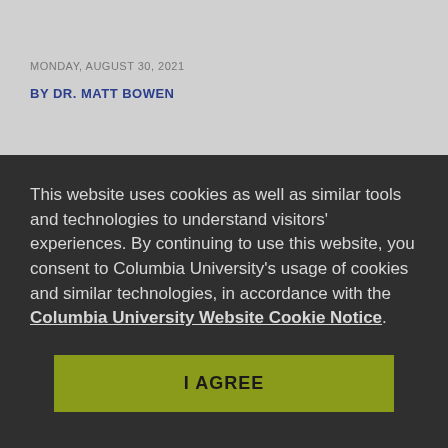MONDAY, AUGUST 30, 2021
BY DR. MATT BOWEN
This website uses cookies as well as similar tools and technologies to understand visitors' experiences. By continuing to use this website, you consent to Columbia University's usage of cookies and similar technologies, in accordance with the Columbia University Website Cookie Notice.
I AGREE